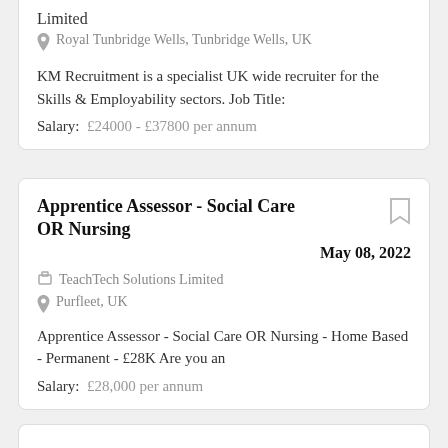Limited
Royal Tunbridge Wells, Tunbridge Wells, UK
KM Recruitment is a specialist UK wide recruiter for the Skills & Employability sectors. Job Title:
Salary: £24000 - £37800 per annum
Apprentice Assessor - Social Care OR Nursing
May 08, 2022
TeachTech Solutions Limited
Purfleet, UK
Apprentice Assessor - Social Care OR Nursing - Home Based - Permanent - £28K Are you an
Salary: £28,000 per annum